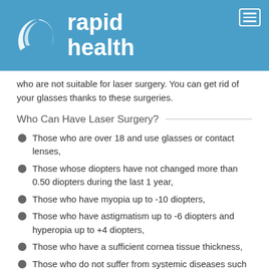[Figure (logo): Rapid Health logo with eye icon and white text on blue background]
who are not suitable for laser surgery. You can get rid of your glasses thanks to these surgeries.
Who Can Have Laser Surgery?
Those who are over 18 and use glasses or contact lenses,
Those whose diopters have not changed more than 0.50 diopters during the last 1 year,
Those who have myopia up to -10 diopters,
Those who have astigmatism up to -6 diopters and hyperopia up to +4 diopters,
Those who have a sufficient cornea tissue thickness,
Those who do not suffer from systemic diseases such as